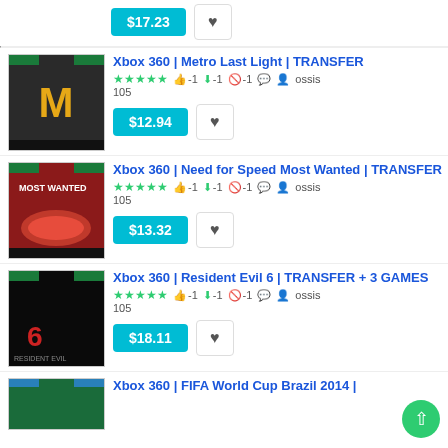$17.23 [price button] [heart button]
[Figure (screenshot): Xbox 360 Metro Last Light game cover showing yellow M letter on dark background]
Xbox 360 | Metro Last Light | TRANSFER
★★★★★ 👍 -1 ⬇ -1 🚫 -1 💬 👤 ossis 105
$12.94 [price button] [heart button]
[Figure (screenshot): Xbox 360 Need for Speed Most Wanted game cover with red car]
Xbox 360 | Need for Speed Most Wanted | TRANSFER
★★★★★ 👍 -1 ⬇ -1 🚫 -1 💬 👤 ossis 105
$13.32 [price button] [heart button]
[Figure (screenshot): Xbox 360 Resident Evil 6 game cover with dark characters]
Xbox 360 | Resident Evil 6 | TRANSFER + 3 GAMES
★★★★★ 👍 -1 ⬇ -1 🚫 -1 💬 👤 ossis 105
$18.11 [price button] [heart button]
[Figure (screenshot): Xbox 360 FIFA World Cup Brazil 2014 game cover]
Xbox 360 | FIFA World Cup Brazil 2014 |